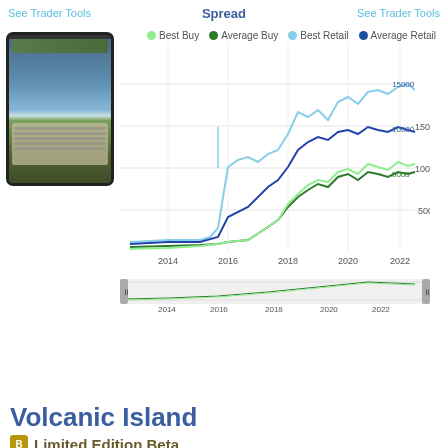See Trader Tools   Spread   See Trader Tools
[Figure (line-chart): Volcanic Island price history]
Volcanic Island
Limited Edition Beta
$7344   104%   $14999.99
See Trader Tools   Spread   See Trader Tools